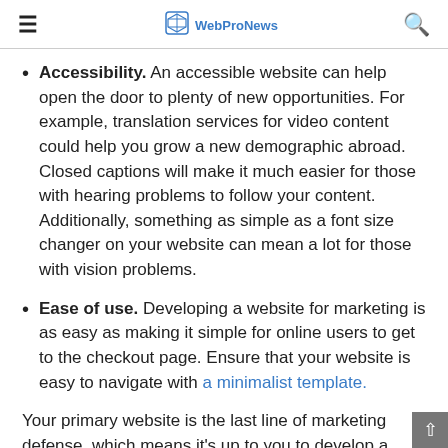WebProNews
Accessibility. An accessible website can help open the door to plenty of new opportunities. For example, translation services for video content could help you grow a new demographic abroad. Closed captions will make it much easier for those with hearing problems to follow your content. Additionally, something as simple as a font size changer on your website can mean a lot for those with vision problems.
Ease of use. Developing a website for marketing is as easy as making it simple for online users to get to the checkout page. Ensure that your website is easy to navigate with a minimalist template.
Your primary website is the last line of marketing defense, which means it's up to you to develop a robust strategy to